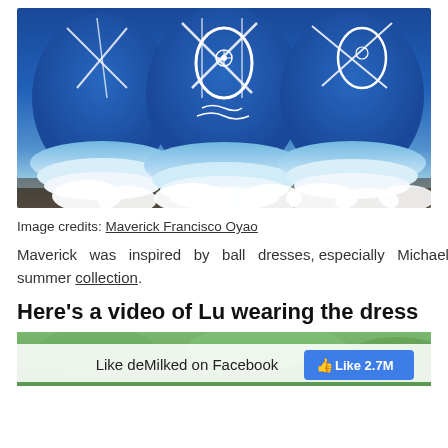[Figure (photo): Blue and white ball gown dresses with floral embroidery and white ruffled hem, lying on the ground]
Image credits: Maverick Francisco Oyao
Maverick was inspired by ball dresses, especially Michael Cinco's spring and summer collection.
Here's a video of Lu wearing the dress
[Figure (screenshot): Bottom portion of a video thumbnail with green foliage background, overlaid with Facebook Like bar showing 'Like deMilked on Facebook' and a Like button showing 2.7M likes]